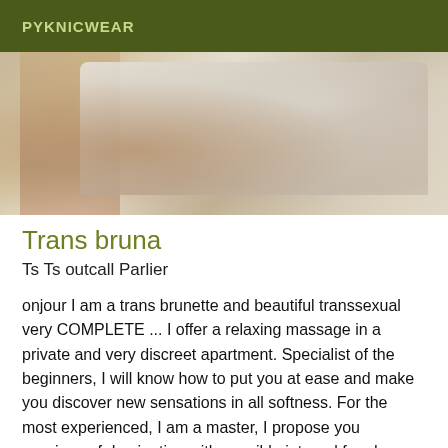PYKNICWEAR
[Figure (photo): Close-up photo of a person, partially visible, showing fabric/clothing in warm tones]
Trans bruna
Ts Ts outcall Parlier
onjour I am a trans brunette and beautiful transsexual very COMPLETE ... I offer a relaxing massage in a private and very discreet apartment. Specialist of the beginners, I will know how to put you at ease and make you discover new sensations in all softness. For the most experienced, I am a master, I propose you sessions of domination with possible integral femdom. For you, I am available 100% natural photos without retouching, I am ideal for sharing your moment of relaxation, assured you will not be disappointed. No